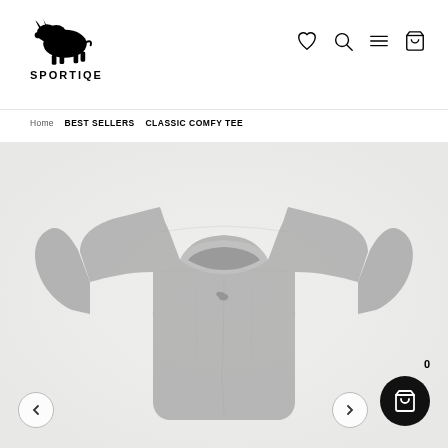[Figure (logo): Sportiqe logo with black bison silhouette above the brand name SPORTIQE in bold uppercase letters]
[Figure (infographic): Navigation icons: heart (wishlist), magnifying glass (search), hamburger menu (three lines), shopping cart]
Home  BEST SELLERS  CLASSIC COMFY TEE
[Figure (photo): Gray heather classic comfy t-shirt laid flat on white/light gray background, crewneck style, short sleeves, small logo on chest]